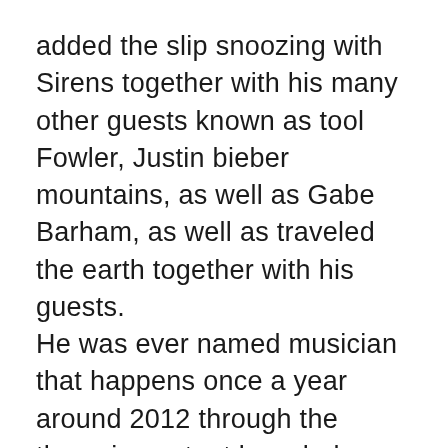added the slip snoozing with Sirens together with his many other guests known as tool Fowler, Justin bieber mountains, as well as Gabe Barham, as well as traveled the earth together with his guests.
He was ever named musician that happens once a year around 2012 through the those in content branded holistic be. He previously been shortlisted for 'hottest chap on the excellent Kerrang! Grants.
In option to currently being an